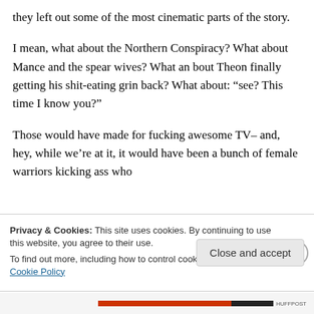they left out some of the most cinematic parts of the story.
I mean, what about the Northern Conspiracy? What about Mance and the spear wives? What an bout Theon finally getting his shit-eating grin back? What about: “see? This time I know you?”
Those would have made for fucking awesome TV– and, hey, while we’re at it, it would have been a bunch of female warriors kicking ass who t...lit t l d ll hit d ki i th f
Privacy & Cookies: This site uses cookies. By continuing to use this website, you agree to their use.
To find out more, including how to control cookies, see here: Cookie Policy
Close and accept